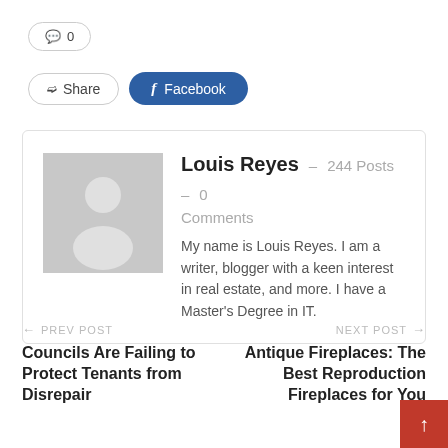💬 0
Share  Facebook
[Figure (illustration): Author profile card with placeholder avatar (grey silhouette), author name Louis Reyes, post count 244, 0 comments, and bio text.]
Louis Reyes – 244 Posts – 0 Comments
My name is Louis Reyes. I am a writer, blogger with a keen interest in real estate, and more. I have a Master's Degree in IT.
← PREV POST
Councils Are Failing to Protect Tenants from Disrepair
NEXT POST →
Antique Fireplaces: The Best Reproduction Fireplaces for You